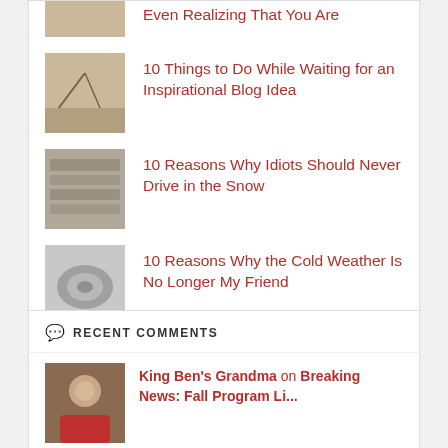Even Realizing That You Are
10 Things to Do While Waiting for an Inspirational Blog Idea
10 Reasons Why Idiots Should Never Drive in the Snow
10 Reasons Why the Cold Weather Is No Longer My Friend
20 Self-Help Books That Somebody Really, Really Needs To Write
RECENT COMMENTS
King Ben's Grandma on Breaking News: Fall Program Li...
Sheila Morris on Breaking News: Fall Program Li...